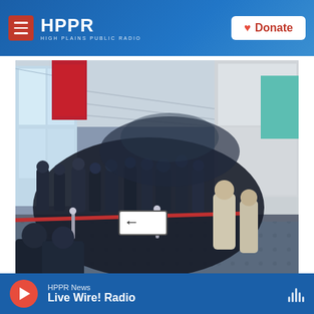HPPR | HIGH PLAINS PUBLIC RADIO
[Figure (photo): A large crowd of people queuing inside an airport or convention center corridor. Red velvet ropes guide the crowd. A directional arrow sign is visible. Large windows are on the left, and white paneled walls are on the right with a teal accent panel. A red banner hangs from the ceiling on the left. The photo was taken at the 2021 Tokyo Olympics media area.]
Merrit Kennedy / NPR / NPR
HPPR News — Live Wire! Radio